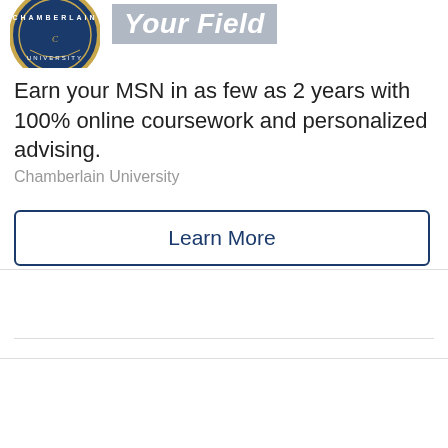[Figure (logo): Chamberlain University circular seal logo (blue and gold) in upper left, partially cropped at top]
Your Field
Earn your MSN in as few as 2 years with 100% online coursework and personalized advising.
Chamberlain University
Learn More
[Figure (photo): WSU Cougars logo / sports image partially visible at bottom left, cropped]
Graduate Online in 1(